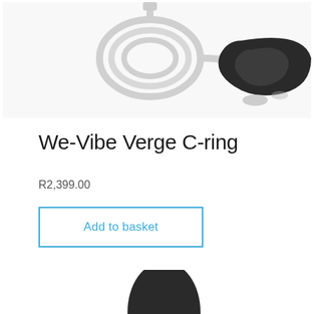[Figure (photo): Product photo showing a black We-Vibe Verge C-ring alongside a white USB charging cable on a white background]
We-Vibe Verge C-ring
R2,399.00
Add to basket
[Figure (photo): Close-up partial photo of a dark black silicone product on a white background]